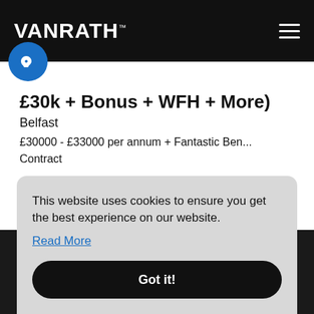VANRATH™
£30k + Bonus + WFH + More)
Belfast
£30000 - £33000 per annum + Fantastic Ben...
Contract
More Info
This website uses cookies to ensure you get the best experience on our website.
Read More
Got it!